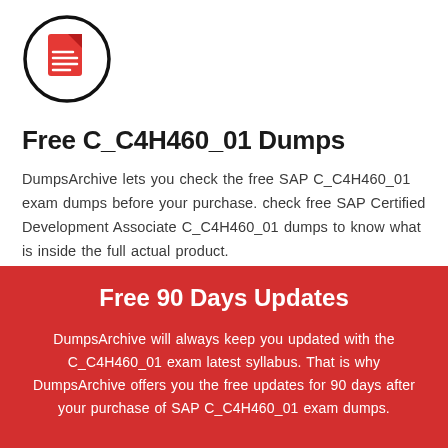[Figure (logo): Circle logo with a red document/file icon (lines representing text on a page) in the center, with a thick black circular border]
Free C_C4H460_01 Dumps
DumpsArchive lets you check the free SAP C_C4H460_01 exam dumps before your purchase. check free SAP Certified Development Associate C_C4H460_01 dumps to know what is inside the full actual product.
Free 90 Days Updates
DumpsArchive will always keep you updated with the C_C4H460_01 exam latest syllabus. That is why DumpsArchive offers you the free updates for 90 days after your purchase of SAP C_C4H460_01 exam dumps.